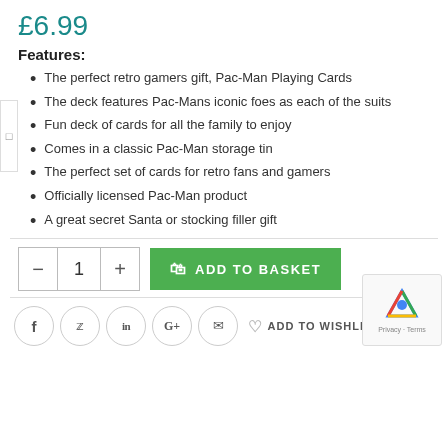£6.99
Features:
The perfect retro gamers gift, Pac-Man Playing Cards
The deck features Pac-Mans iconic foes as each of the suits
Fun deck of cards for all the family to enjoy
Comes in a classic Pac-Man storage tin
The perfect set of cards for retro fans and gamers
Officially licensed Pac-Man product
A great secret Santa or stocking filler gift
- 1 + ADD TO BASKET
f  in  G+  [mail]  ADD TO WISHLIST